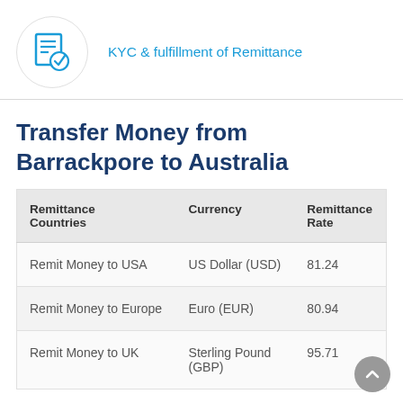[Figure (illustration): Blue document/checklist icon with a blue checkmark circle, inside a light circular bordered container]
KYC & fulfillment of Remittance
Transfer Money from Barrackpore to Australia
| Remittance Countries | Currency | Remittance Rate |
| --- | --- | --- |
| Remit Money to USA | US Dollar (USD) | 81.24 |
| Remit Money to Europe | Euro (EUR) | 80.94 |
| Remit Money to UK | Sterling Pound (GBP) | 95.71 |